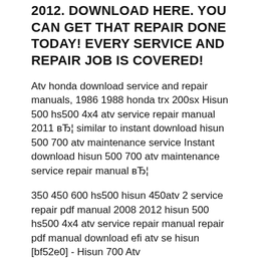2012. DOWNLOAD HERE. YOU CAN GET THAT REPAIR DONE TODAY! EVERY SERVICE AND REPAIR JOB IS COVERED!
Atv honda download service and repair manuals, 1986 1988 honda trx 200sx Hisun 500 hs500 4x4 atv service repair manual 2011 вЂ¦ similar to instant download hisun 500 700 atv maintenance service Instant download hisun 500 700 atv maintenance service repair manual вЂ¦
350 450 600 hs500 hisun 450atv 2 service repair pdf manual 2008 2012 hisun 500 hs500 4x4 atv service repair manual repair pdf manual download efi atv se hisun [bf52e0] - Hisun 700 Atv